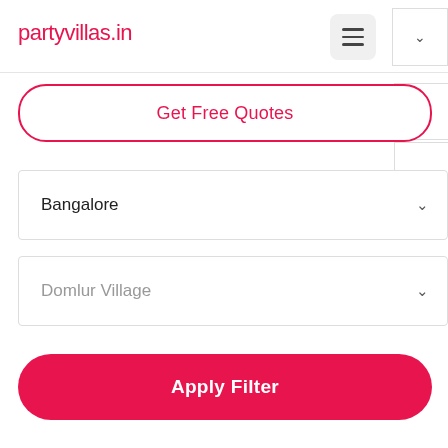partyvillas.in
Get Free Quotes
Bangalore
Domlur Village
Apply Filter